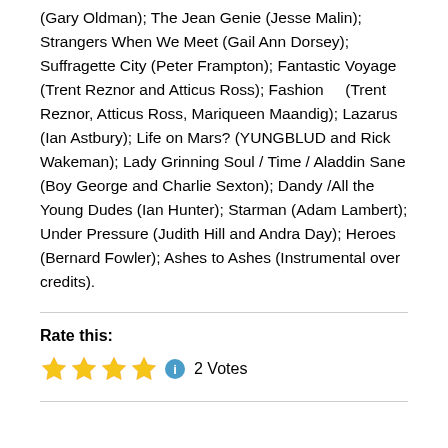(Gary Oldman); The Jean Genie (Jesse Malin); Strangers When We Meet (Gail Ann Dorsey); Suffragette City (Peter Frampton); Fantastic Voyage (Trent Reznor and Atticus Ross); Fashion (Trent Reznor, Atticus Ross, Mariqueen Maandig); Lazarus (Ian Astbury); Life on Mars? (YUNGBLUD and Rick Wakeman); Lady Grinning Soul / Time / Aladdin Sane (Boy George and Charlie Sexton); Dandy /All the Young Dudes (Ian Hunter); Starman (Adam Lambert); Under Pressure (Judith Hill and Andra Day); Heroes (Bernard Fowler); Ashes to Ashes (Instrumental over credits).
Rate this:
2 Votes